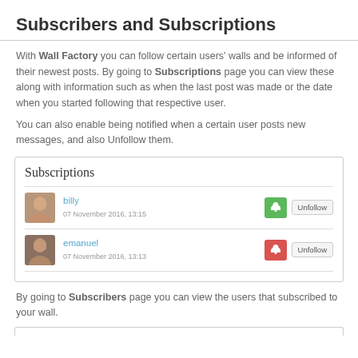Subscribers and Subscriptions
With Wall Factory you can follow certain users' walls and be informed of their newest posts. By going to Subscriptions page you can view these along with information such as when the last post was made or the date when you started following that respective user.
You can also enable being notified when a certain user posts new messages, and also Unfollow them.
[Figure (screenshot): Screenshot of a Subscriptions panel showing two users: 'billy' (07 November 2016, 13:15) with a green bell notification button and Unfollow button, and 'emanuel' (07 November 2016, 13:13) with a red bell notification button and Unfollow button.]
By going to Subscribers page you can view the users that subscribed to your wall.